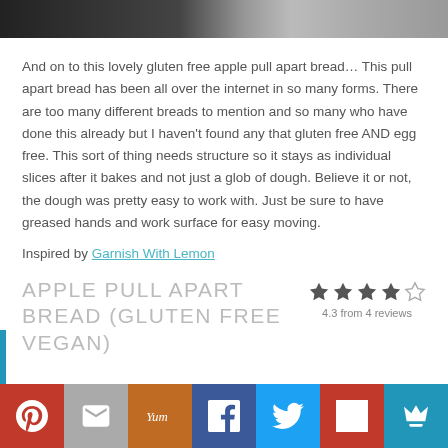[Figure (photo): Top portion of food photo (apple pull apart bread), partially cropped at top of page]
And on to this lovely gluten free apple pull apart bread… This pull apart bread has been all over the internet in so many forms.  There are too many different breads to mention and so many who have done this already but I haven't found any that gluten free AND egg free.  This sort of thing needs structure so it stays as individual slices after it bakes and not just a glob of dough.  Believe it or not, the dough was pretty easy to work with.  Just be sure to have greased hands and work surface for easy moving.
Inspired by Garnish With Lemon
APPLE PULL APART BREAD (GLUTEN FREE VEGAN)
4.3 from 4 reviews
[Figure (infographic): Social sharing bar at bottom with icons for Pinterest, Email, Yum, Facebook, Twitter, Flipboard, and Crown/Bookmarking service]